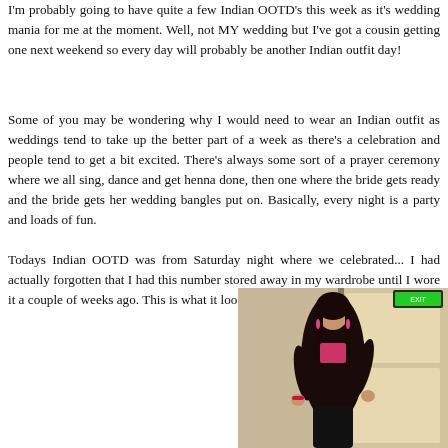I'm probably going to have quite a few Indian OOTD's this week as it's wedding mania for me at the moment. Well, not MY wedding but I've got a cousin getting one next weekend so every day will probably be another Indian outfit day!
Some of you may be wondering why I would need to wear an Indian outfit as weddings tend to take up the better part of a week as there's a celebration and people tend to get a bit excited. There's always some sort of a prayer ceremony where we all sing, dance and get henna done, then one where the bride gets ready and the bride gets her wedding bangles put on. Basically, every night is a party and loads of fun.
Todays Indian OOTD was from Saturday night where we celebrated... I had actually forgotten that I had this number stored away in my wardrobe until I wore it a couple of weeks ago. This is what it looked like:
[Figure (photo): A woman in a dark Indian outfit (sari or salwar suit) standing in a corridor, with long dark hair and pink/red earrings.]